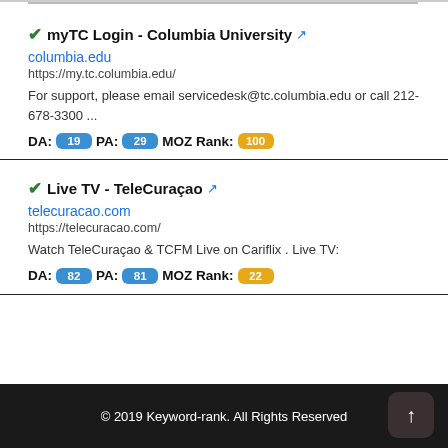myTC Login - Columbia University
columbia.edu
https://my.tc.columbia.edu/
For support, please email servicedesk@tc.columbia.edu or call 212-678-3300 ...
DA: 19 PA: 29 MOZ Rank: 100
Live TV - TeleCuraçao
telecuracao.com
https://telecuracao.com/
Watch TeleCuraçao & TCFM Live on Cariflix . Live TV:
DA: 82 PA: 81 MOZ Rank: 22
© 2019 Keyword-rank. All Rights Reserved